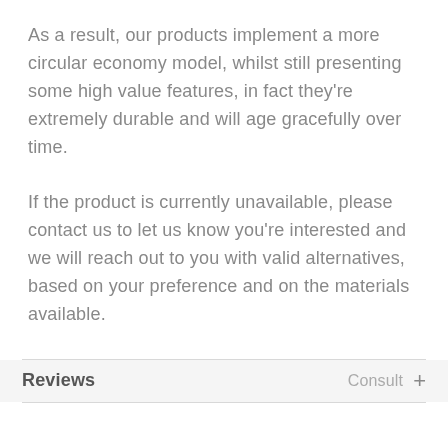As a result, our products implement a more circular economy model, whilst still presenting some high value features, in fact they're extremely durable and will age gracefully over time.
If the product is currently unavailable, please contact us to let us know you're interested and we will reach out to you with valid alternatives, based on your preference and on the materials available.
Reviews